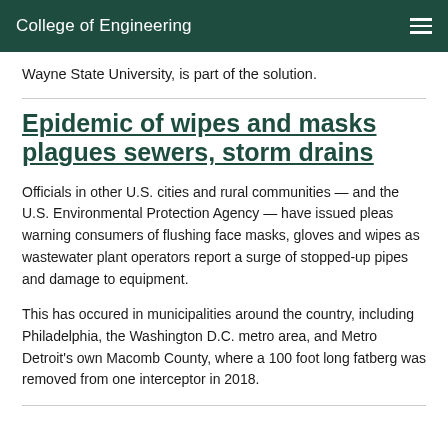College of Engineering
Wayne State University, is part of the solution.
Epidemic of wipes and masks plagues sewers, storm drains
Officials in other U.S. cities and rural communities — and the U.S. Environmental Protection Agency — have issued pleas warning consumers of flushing face masks, gloves and wipes as wastewater plant operators report a surge of stopped-up pipes and damage to equipment.
This has occured in municipalities around the country, including Philadelphia, the Washington D.C. metro area, and Metro Detroit's own Macomb County, where a 100 foot long fatberg was removed from one interceptor in 2018.